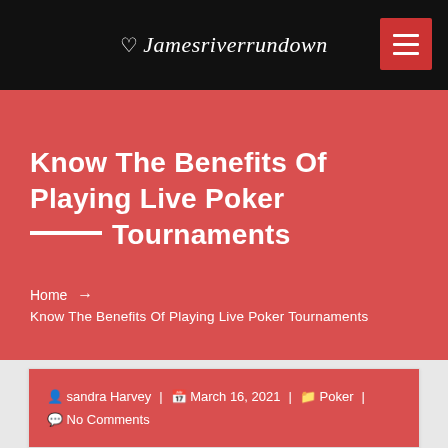♡ Jamesriverrundown
Know The Benefits Of Playing Live Poker Tournaments
Home → Know The Benefits Of Playing Live Poker Tournaments
sandra Harvey | March 16, 2021 | Poker | No Comments